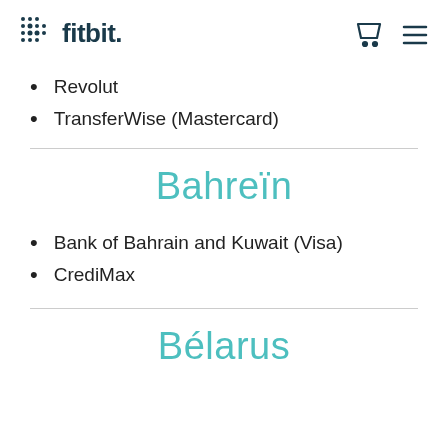fitbit
Revolut
TransferWise (Mastercard)
Bahreïn
Bank of Bahrain and Kuwait (Visa)
CrediMax
Bélarus